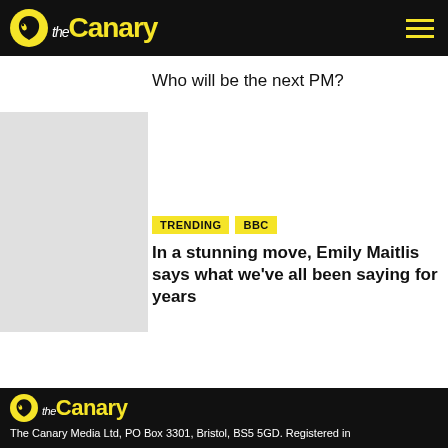the Canary
Who will be the next PM?
TRENDING  BBC
In a stunning move, Emily Maitlis says what we've all been saying for years
the Canary
The Canary Media Ltd, PO Box 3301, Bristol, BS5 5GD. Registered in